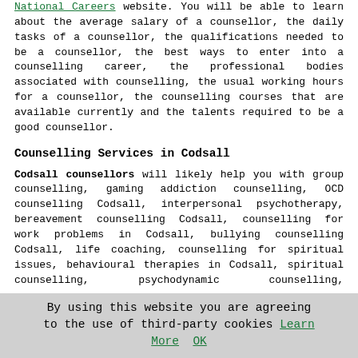National Careers website. You will be able to learn about the average salary of a counsellor, the daily tasks of a counsellor, the qualifications needed to be a counsellor, the best ways to enter into a counselling career, the professional bodies associated with counselling, the usual working hours for a counsellor, the counselling courses that are available currently and the talents required to be a good counsellor.
Counselling Services in Codsall
Codsall counsellors will likely help you with group counselling, gaming addiction counselling, OCD counselling Codsall, interpersonal psychotherapy, bereavement counselling Codsall, counselling for work problems in Codsall, bullying counselling Codsall, life coaching, counselling for spiritual issues, behavioural therapies in Codsall, spiritual counselling, psychodynamic counselling, psychoanalytical counselling, suicide bereavement counselling, panic attack counselling in Codsall, life change counselling Codsall, online counselling Codsall, depression therapies, cheap counselling Codsall, marriage counselling Codsall, drug addiction therapy in Codsall, self-harm counselling in Codsall, rational emotive
By using this website you are agreeing to the use of third-party cookies Learn More OK